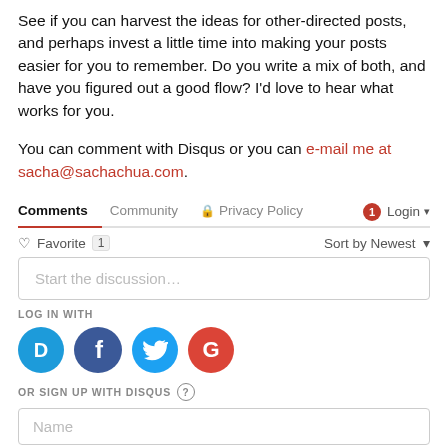See if you can harvest the ideas for other-directed posts, and perhaps invest a little time into making your posts easier for you to remember. Do you write a mix of both, and have you figured out a good flow? I'd love to hear what works for you.
You can comment with Disqus or you can e-mail me at sacha@sachachua.com.
[Figure (screenshot): Disqus comment section navigation bar with tabs: Comments (active, underlined in red), Community, Privacy Policy (with lock icon), Login (with red badge showing 1). Below: Favorite with count 1 and Sort by Newest dropdown. Discussion input box saying 'Start the discussion...'. Log in with social icons: Disqus (D), Facebook (f), Twitter bird, Google (G). Or Sign Up With Disqus label with question mark circle. Name input box.]